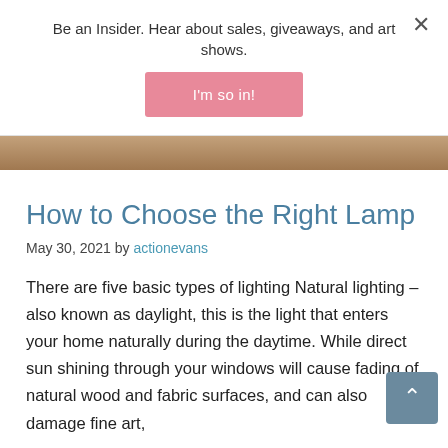Be an Insider. Hear about sales, giveaways, and art shows.
I'm so in!
[Figure (photo): Partial view of a photo showing warm brown tones, appears to be an art or home decor image]
How to Choose the Right Lamp
May 30, 2021 by actionevans
There are five basic types of lighting Natural lighting – also known as daylight, this is the light that enters your home naturally during the daytime. While direct sun shining through your windows will cause fading of natural wood and fabric surfaces, and can also damage fine art,